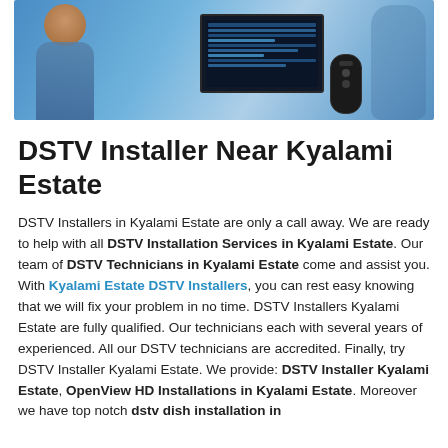[Figure (photo): Hero image showing a person with a drill near a TV monitor displaying a program guide, with a remote control, all with a blue-tinted background]
DSTV Installer Near Kyalami Estate
DSTV Installers in Kyalami Estate are only a call away. We are ready to help with all DSTV Installation Services in Kyalami Estate. Our team of DSTV Technicians in Kyalami Estate come and assist you. With Kyalami Estate DSTV Installers, you can rest easy knowing that we will fix your problem in no time. DSTV Installers Kyalami Estate are fully qualified. Our technicians each with several years of experienced. All our DSTV technicians are accredited. Finally, try DSTV Installer Kyalami Estate. We provide: DSTV Installer Kyalami Estate, OpenView HD Installations in Kyalami Estate. Moreover we have top notch dstv dish installation in